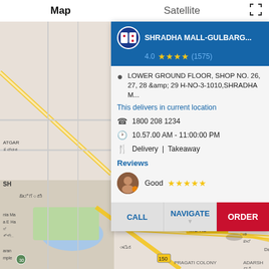[Figure (screenshot): Map view with Satellite tab toggle and map background showing streets and landmarks in Gulbarga area]
SHRADHA MALL-GULBARG...
4.0 ★★★★ (1575)
LOWER GROUND FLOOR, SHOP NO. 26, 27, 28 &amp; 29 H-NO-3-1010,SHRADHA M...
This delivers in current location
1800 208 1234
10.57.00 AM - 11:00:00 PM
Delivery | Takeaway
Reviews
Good ★★★★★
CALL | NAVIGATE | ORDER